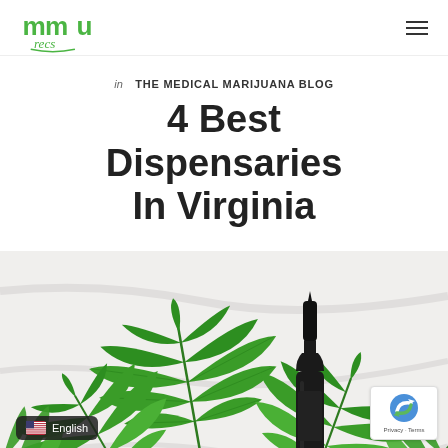MMU Recs logo and navigation
in THE MEDICAL MARIJUANA BLOG
4 Best Dispensaries In Virginia
[Figure (photo): Cannabis leaves and a dark glass dropper bottle on a white marble surface]
English
Privacy · Terms